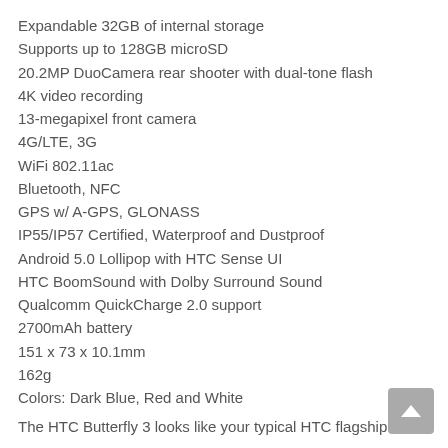Expandable 32GB of internal storage
Supports up to 128GB microSD
20.2MP DuoCamera rear shooter with dual-tone flash
4K video recording
13-megapixel front camera
4G/LTE, 3G
WiFi 802.11ac
Bluetooth, NFC
GPS w/ A-GPS, GLONASS
IP55/IP57 Certified, Waterproof and Dustproof
Android 5.0 Lollipop with HTC Sense UI
HTC BoomSound with Dolby Surround Sound
Qualcomm QuickCharge 2.0 support
2700mAh battery
151 x 73 x 10.1mm
162g
Colors: Dark Blue, Red and White
The HTC Butterfly 3 looks like your typical HTC flagship